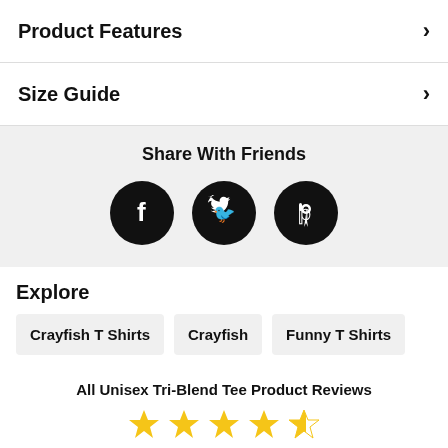Product Features
Size Guide
Share With Friends
[Figure (infographic): Three social media icons (Facebook, Twitter, Pinterest) as white icons on black circular backgrounds]
Explore
Crayfish T Shirts
Crayfish
Funny T Shirts
All Unisex Tri-Blend Tee Product Reviews
[Figure (other): Star rating icons in gold/yellow, partially shown]